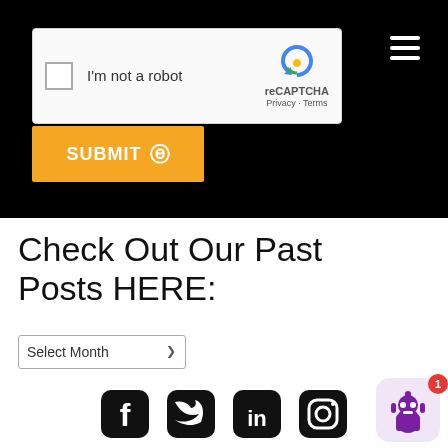[Figure (screenshot): reCAPTCHA widget showing checkbox and 'I'm not a robot' text with reCAPTCHA logo, Privacy and Terms links]
[Figure (other): Hamburger menu icon (three horizontal white lines) in top right]
[Figure (other): Orange SUBMIT button with circle-arrow icon]
Check Out Our Past Posts HERE:
[Figure (other): Select Month dropdown]
[Figure (other): Social media icons: Facebook, Twitter, LinkedIn, Instagram]
[Figure (other): Chatbot widget with notification badge showing 1]